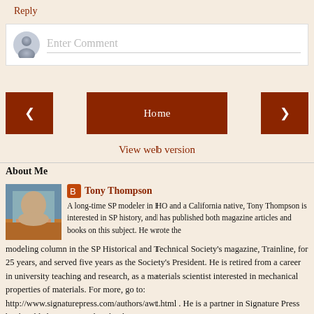Reply
[Figure (screenshot): Comment input box with avatar placeholder and 'Enter Comment' placeholder text]
[Figure (screenshot): Navigation buttons: left arrow, Home (center), right arrow — all dark red/brown background with white text]
View web version
About Me
[Figure (photo): Profile photo of Tony Thompson, an older man]
Tony Thompson
A long-time SP modeler in HO and a California native, Tony Thompson is interested in SP history, and has published both magazine articles and books on this subject. He wrote the modeling column in the SP Historical and Technical Society's magazine, Trainline, for 25 years, and served five years as the Society's President. He is retired from a career in university teaching and research, as a materials scientist interested in mechanical properties of materials. For more, go to: http://www.signaturepress.com/authors/awt.html . He is a partner in Signature Press book publishing. To see their books in print, go to